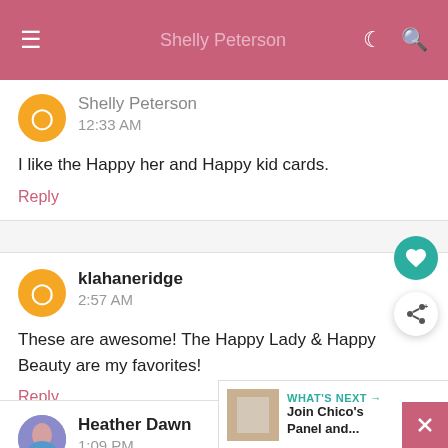≡  Shelly Peterson  ☾  🔍
Shelly Peterson
12:33 AM
I like the Happy her and Happy kid cards.
Reply
klahaneridge
2:57 AM
These are awesome! The Happy Lady & Happy Beauty are my favorites!
Reply
Heather Dawn
1:09 PM
I like the Happy Her card!
WHAT'S NEXT → Join Chico's Panel and...